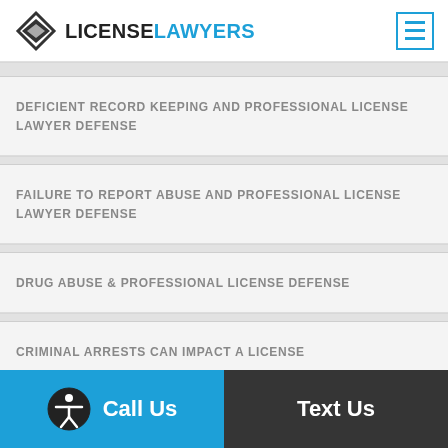LICENSE LAWYERS
DEFICIENT RECORD KEEPING AND PROFESSIONAL LICENSE LAWYER DEFENSE
FAILURE TO REPORT ABUSE AND PROFESSIONAL LICENSE LAWYER DEFENSE
DRUG ABUSE & PROFESSIONAL LICENSE DEFENSE
CRIMINAL ARRESTS CAN IMPACT A LICENSE
Call Us  |  Text Us